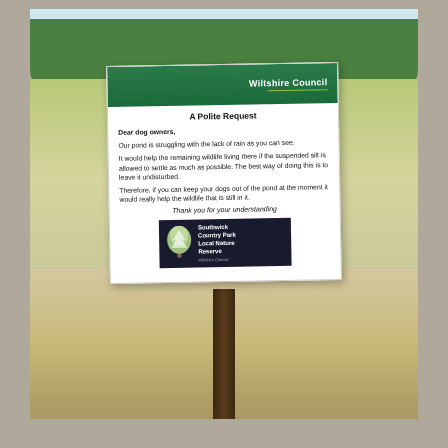[Figure (photo): Outdoor photograph of a notice sign on a wooden post at a pond in Southwick Country Park Local Nature Reserve. The sign has a Wiltshire Council header and contains a polite request to dog owners to keep their dogs out of the pond due to low water levels. Background shows a murky pond, trees, and sandy ground.]